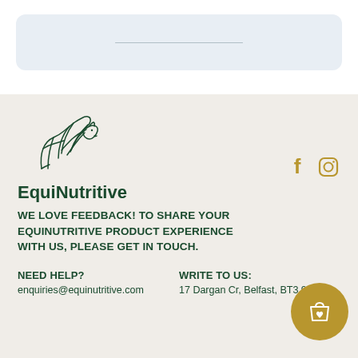[Figure (illustration): Light blue rounded rectangle search/input box with a thin horizontal line in the center, suggesting a search field placeholder]
[Figure (logo): EquiNutritive logo: a line-art horse head with flowing mane above the word EquiNutritive in dark green bold sans-serif]
[Figure (illustration): Facebook and Instagram social media icons in gold/amber color]
WE LOVE FEEDBACK! TO SHARE YOUR EQUINUTRITIVE PRODUCT EXPERIENCE WITH US, PLEASE GET IN TOUCH.
NEED HELP?
enquiries@equinutritive.com
WRITE TO US:
17 Dargan Cr, Belfast, BT3 9RP
[Figure (illustration): Gold circular shopping bag with heart icon button]